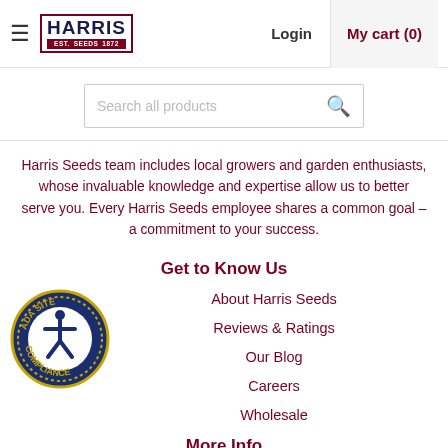Harris Seeds — Login | My cart (0)
[Figure (screenshot): Search bar with placeholder 'Search all products' and a search icon]
Harris Seeds team includes local growers and garden enthusiasts, whose invaluable knowledge and expertise allow us to better serve you. Every Harris Seeds employee shares a common goal – a commitment to your success.
Get to Know Us
About Harris Seeds
Reviews & Ratings
Our Blog
Careers
Wholesale
[Figure (logo): ADA Site Compliance badge — circular badge with accessibility icon, navy blue and gold]
More Info